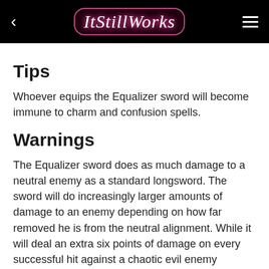ItStillWorks
Tips
Whoever equips the Equalizer sword will become immune to charm and confusion spells.
Warnings
The Equalizer sword does as much damage to a neutral enemy as a standard longsword. The sword will do increasingly larger amounts of damage to an enemy depending on how far removed he is from the neutral alignment. While it will deal an extra six points of damage on every successful hit against a chaotic evil enemy